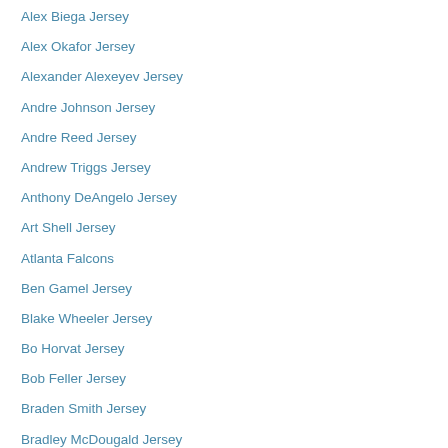Alex Biega Jersey
Alex Okafor Jersey
Alexander Alexeyev Jersey
Andre Johnson Jersey
Andre Reed Jersey
Andrew Triggs Jersey
Anthony DeAngelo Jersey
Art Shell Jersey
Atlanta Falcons
Ben Gamel Jersey
Blake Wheeler Jersey
Bo Horvat Jersey
Bob Feller Jersey
Braden Smith Jersey
Bradley McDougald Jersey